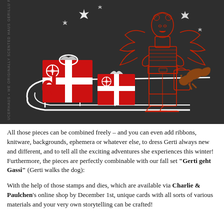[Figure (illustration): Dark background illustration showing a winged angel figure (Gerti) in red and white line art wearing ice skates and holding a bag, standing next to a sled with red gift boxes decorated with white ribbon bows. Stars in the background and a leaping squirrel in brown on the right. Red 'du' letters on the gifts. Vertical text along the left edge.]
All those pieces can be combined freely – and you can even add ribbons, knitware, backgrounds, ephemera or whatever else, to dress Gerti always new and different, and to tell all the exciting adventures she experiences this winter! Furthermore, the pieces are perfectly combinable with our fall set "Gerti geht Gassi" (Gerti walks the dog):
With the help of those stamps and dies, which are available via Charlie & Paulchen's online shop by December 1st, unique cards with all sorts of various materials and your very own storytelling can be crafted!